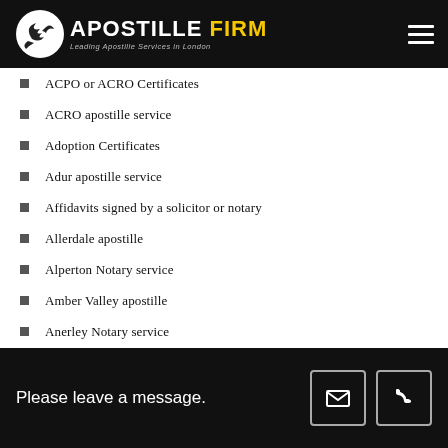APOSTILLE FIRM — Leading Apostille Services in London
ACPO or ACRO Certificates
ACRO apostille service
Adoption Certificates
Adur apostille service
Affidavits signed by a solicitor or notary
Allerdale apostille
Alperton Notary service
Amber Valley apostille
Anerley Notary service
Angel Islington Notary service
Annual Returns apostille
Apostille documentation
Apostille News
Please leave a message.
Archway Notary service